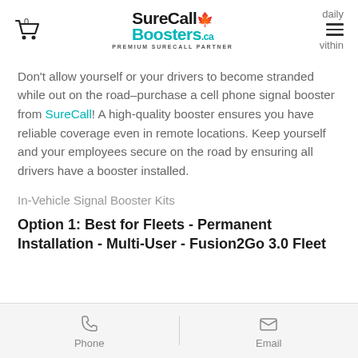SureCall Boosters.ca — PREMIUM SURECALL PARTNER
Don't allow yourself or your drivers to become stranded while out on the road–purchase a cell phone signal booster from SureCall! A high-quality booster ensures you have reliable coverage even in remote locations. Keep yourself and your employees secure on the road by ensuring all drivers have a booster installed.
In-Vehicle Signal Booster Kits
Option 1: Best for Fleets - Permanent Installation - Multi-User - Fusion2Go 3.0 Fleet
Phone   Email